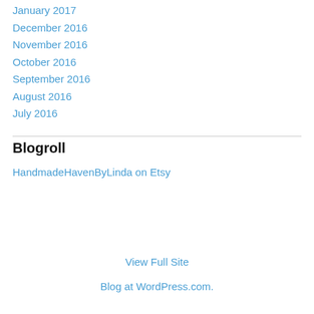January 2017
December 2016
November 2016
October 2016
September 2016
August 2016
July 2016
Blogroll
HandmadeHavenByLinda on Etsy
View Full Site
Blog at WordPress.com.